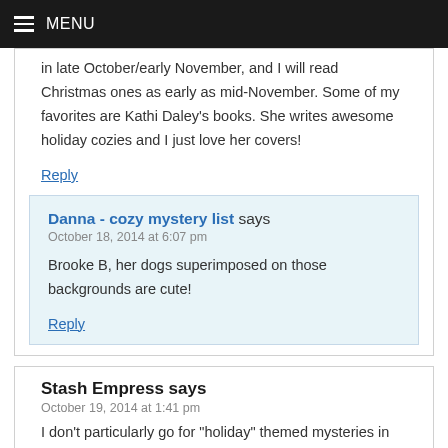MENU
in late October/early November, and I will read Christmas ones as early as mid-November. Some of my favorites are Kathi Daley's books. She writes awesome holiday cozies and I just love her covers!
Reply
Danna - cozy mystery list says
October 18, 2014 at 6:07 pm
Brooke B, her dogs superimposed on those backgrounds are cute!
Reply
Stash Empress says
October 19, 2014 at 1:41 pm
I don't particularly go for "holiday" themed mysteries in the